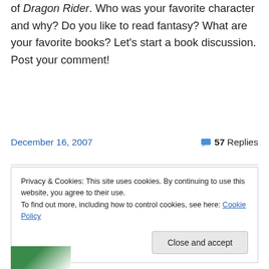of Dragon Rider. Who was your favorite character and why? Do you like to read fantasy? What are your favorite books? Let's start a book discussion. Post your comment!
December 16, 2007
57 Replies
Privacy & Cookies: This site uses cookies. By continuing to use this website, you agree to their use.
To find out more, including how to control cookies, see here: Cookie Policy
Close and accept